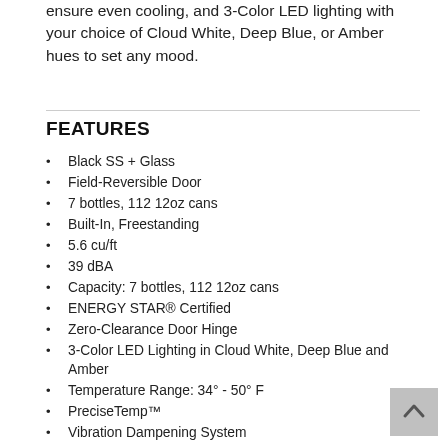ensure even cooling, and 3-Color LED lighting with your choice of Cloud White, Deep Blue, or Amber hues to set any mood.
FEATURES
Black SS + Glass
Field-Reversible Door
7 bottles, 112 12oz cans
Built-In, Freestanding
5.6 cu/ft
39 dBA
Capacity: 7 bottles, 112 12oz cans
ENERGY STAR® Certified
Zero-Clearance Door Hinge
3-Color LED Lighting in Cloud White, Deep Blue and Amber
Temperature Range: 34° - 50° F
PreciseTemp™
Vibration Dampening System